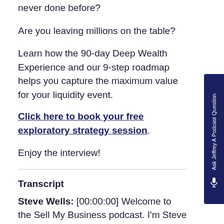never done before?
Are you leaving millions on the table?
Learn how the 90-day Deep Wealth Experience and our 9-step roadmap helps you capture the maximum value for your liquidity event.
Click here to book your free exploratory strategy session.
Enjoy the interview!
Transcript
Steve Wells: [00:00:00] Welcome to the Sell My Business podcast. I'm Steve Wells.
Jeffrey Feldberg: [00:00:06] And I'm Jeffrey